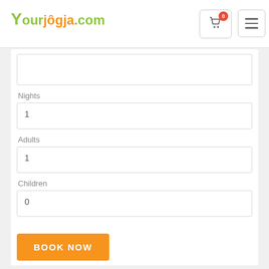[Figure (logo): YourJogja.com logo with green Y letter and orange 'jôgja' text]
1
Nights
1
Adults
1
Children
0
BOOK NOW